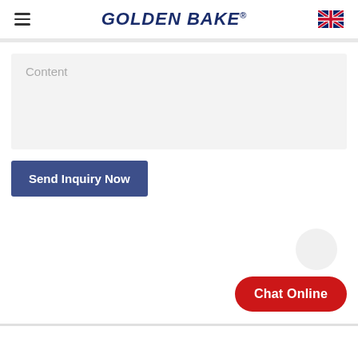GOLDEN BAKE®
Content
Send Inquiry Now
Chat Online